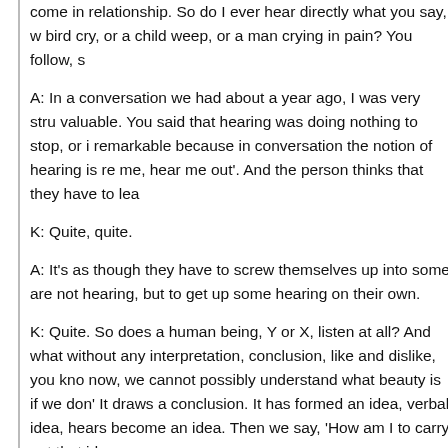come in relationship. So do I ever hear directly what you say, w bird cry, or a child weep, or a man crying in pain? You follow, s
A: In a conversation we had about a year ago, I was very stru valuable. You said that hearing was doing nothing to stop, or i remarkable because in conversation the notion of hearing is re me, hear me out'. And the person thinks that they have to lea
K: Quite, quite.
A: It's as though they have to screw themselves up into some are not hearing, but to get up some hearing on their own.
K: Quite. So does a human being, Y or X, listen at all? And what without any interpretation, conclusion, like and dislike, you kno now, we cannot possibly understand what beauty is if we don' It draws a conclusion. It has formed an idea, verbal idea, hears become an idea. Then we say, 'How am I to carry out that idea
A: Yes, of course it does. Because the idea doesn't conform to Now we are up against a clash.